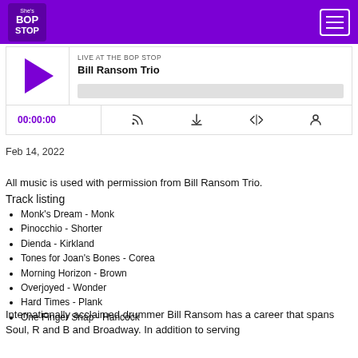She's Bop Stop [logo] | Menu button
[Figure (screenshot): Audio player widget showing 'LIVE AT THE BOP STOP' label, 'Bill Ransom Trio' title, play button, progress bar, time display 00:00:00, and controls for RSS, download, embed, and settings]
Feb 14, 2022
All music is used with permission from Bill Ransom Trio.
Track listing
Monk's Dream - Monk
Pinocchio - Shorter
Dienda - Kirkland
Tones for Joan's Bones - Corea
Morning Horizon - Brown
Overjoyed - Wonder
Hard Times - Plank
One Finger Snap - Hancock
Internationally acclaimed drummer Bill Ransom has a career that spans Soul, R and B and Broadway. In addition to serving